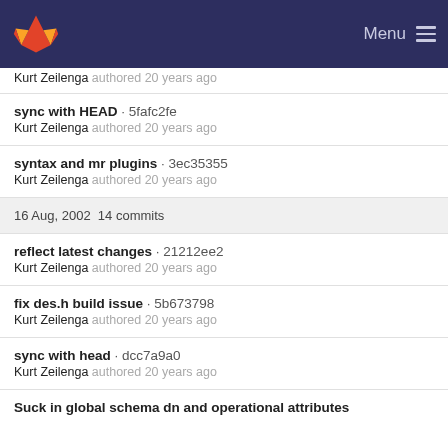GitLab — Menu
Kurt Zeilenga authored 20 years ago
sync with HEAD · 5fafc2fe
Kurt Zeilenga authored 20 years ago
syntax and mr plugins · 3ec35355
Kurt Zeilenga authored 20 years ago
16 Aug, 2002 14 commits
reflect latest changes · 21212ee2
Kurt Zeilenga authored 20 years ago
fix des.h build issue · 5b673798
Kurt Zeilenga authored 20 years ago
sync with head · dcc7a9a0
Kurt Zeilenga authored 20 years ago
Suck in global schema dn and operational attributes